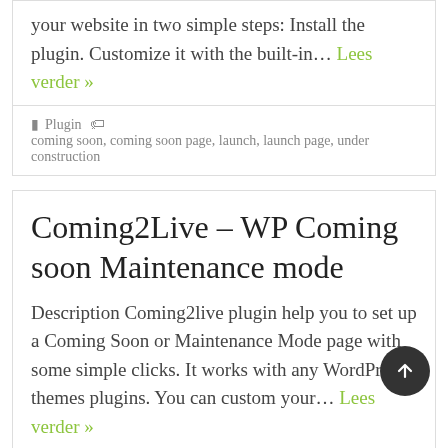your website in two simple steps: Install the plugin. Customize it with the built-in… Lees verder »
Plugin  coming soon, coming soon page, launch, launch page, under construction
Coming2Live – WP Coming soon Maintenance mode
Description Coming2live plugin help you to set up a Coming Soon or Maintenance Mode page with some simple clicks. It works with any WordPress themes plugins. You can custom your… Lees verder »
Plugin  coming soon, coming soon page,